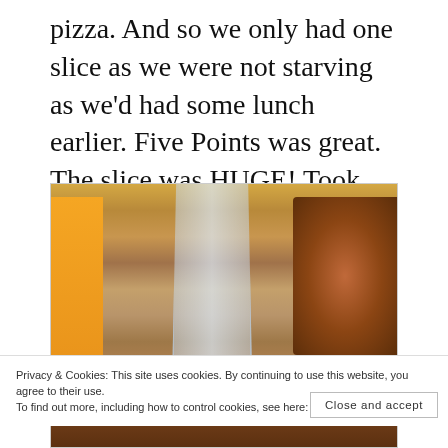pizza. And so we only had one slice as we were not starving as we'd had some lunch earlier. Five Points was great. The slice was HUGE! Took two paper plates to hold it. Although George looked at the draft beer, craft beer list, we both had water!
[Figure (photo): Photo of a table at a pizza restaurant showing a large glass of water with condensation, an orange menu board on the left, and a large slice of pizza on the right on a wooden table surface.]
Privacy & Cookies: This site uses cookies. By continuing to use this website, you agree to their use.
To find out more, including how to control cookies, see here: Cookie Policy